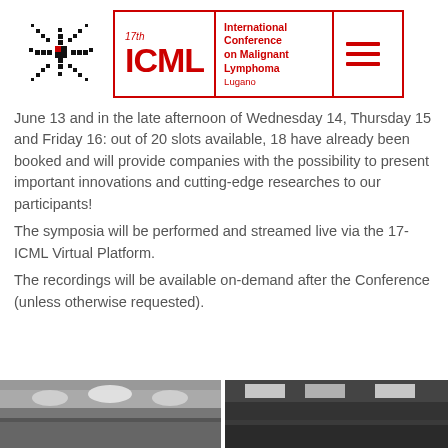[Figure (logo): 17th ICML International Conference on Malignant Lymphoma Lugano logo with snowflake pixel art and menu icon]
June 13 and in the late afternoon of Wednesday 14, Thursday 15 and Friday 16: out of 20 slots available, 18 have already been booked and will provide companies with the possibility to present important innovations and cutting-edge researches to our participants!
The symposia will be performed and streamed live via the 17-ICML Virtual Platform.
The recordings will be available on-demand after the Conference (unless otherwise requested).
[Figure (photo): Two photos of conference venue rooms side by side at the bottom of the page]